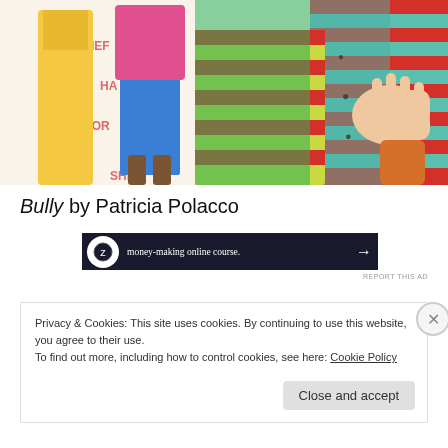[Figure (illustration): Colorful illustration from the book 'Bully' showing figures in vibrant patterned clothing with bullying-related words (THIEF, HATE, LYER, FAKE, HONOR, SHE STOLE, etc.) written in pink/red letters in the background]
Bully by Patricia Polacco
[Figure (screenshot): Advertisement banner with dark background showing text 'money-making online course.' with an arrow, and a circular icon on the left]
REPORT THIS AD
Privacy & Cookies: This site uses cookies. By continuing to use this website, you agree to their use.
To find out more, including how to control cookies, see here: Cookie Policy